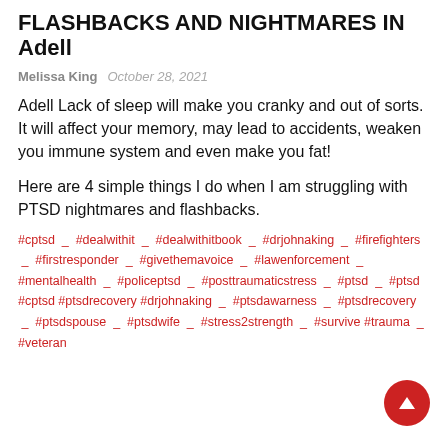FLASHBACKS AND NIGHTMARES IN Adell
Melissa King   October 28, 2021
Adell Lack of sleep will make you cranky and out of sorts. It will affect your memory, may lead to accidents, weaken you immune system and even make you fat!
Here are 4 simple things I do when I am struggling with PTSD nightmares and flashbacks.
#cptsd _ #dealwithit _ #dealwithitbook _ #drjohnaking _ #firefighters _ #firstresponder _ #givethemavoice _ #lawenforcement _ #mentalhealth _ #policeptsd _ #posttraumaticstress _ #ptsd _ #ptsd #cptsd #ptsdrecovery #drjohnaking _ #ptsdawarness _ #ptsdrecovery _ #ptsdspouse _ #ptsdwife _ #stress2strength _ #survive #trauma _ #veteran